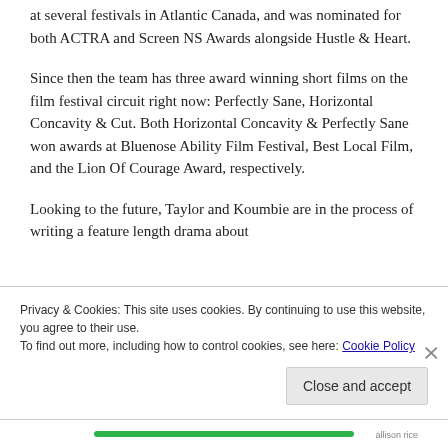at several festivals in Atlantic Canada, and was nominated for both ACTRA and Screen NS Awards alongside Hustle & Heart.
Since then the team has three award winning short films on the film festival circuit right now: Perfectly Sane, Horizontal Concavity & Cut. Both Horizontal Concavity & Perfectly Sane won awards at Bluenose Ability Film Festival, Best Local Film, and the Lion Of Courage Award, respectively.
Looking to the future, Taylor and Koumbie are in the process of writing a feature length drama about
Privacy & Cookies: This site uses cookies. By continuing to use this website, you agree to their use.
To find out more, including how to control cookies, see here: Cookie Policy
Close and accept